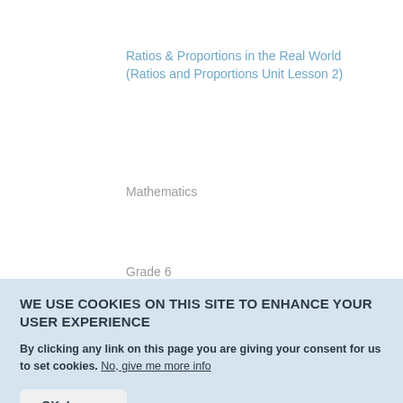Ratios & Proportions in the Real World (Ratios and Proportions Unit Lesson 2)
Mathematics
Grade 6
[Figure (other): Document file icon (grey)]
Semicolons: A Mini-lesson
WE USE COOKIES ON THIS SITE TO ENHANCE YOUR USER EXPERIENCE
By clicking any link on this page you are giving your consent for us to set cookies. No, give me more info
OK, I agree